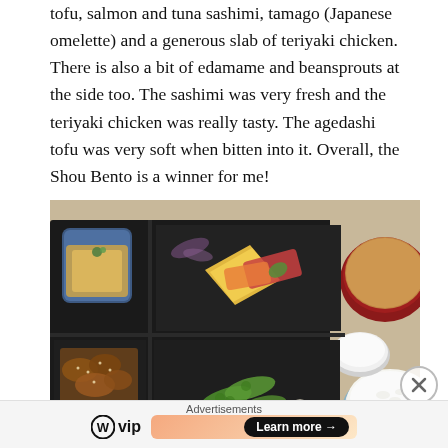tofu, salmon and tuna sashimi, tamago (Japanese omelette) and a generous slab of teriyaki chicken. There is also a bit of edamame and beansprouts at the side too. The sashimi was very fresh and the teriyaki chicken was really tasty. The agedashi tofu was very soft when bitten into it. Overall, the Shou Bento is a winner for me!
[Figure (photo): A Japanese bento box on a dark tray containing compartments with agedashi tofu, salmon and tuna sashimi with tamago, edamame and beansprouts, teriyaki chicken, and a red bowl of miso soup with a white bowl of rice.]
Advertisements
[Figure (logo): WordPress VIP logo with circular W icon and 'vip' text, alongside a Learn more button on a gradient orange background.]